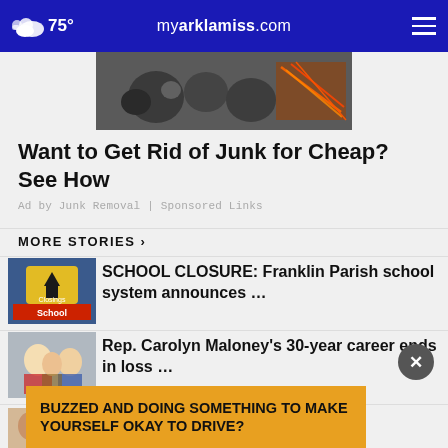75° myarklamiss.com
[Figure (photo): Junk and wires/electronics close-up photo]
Want to Get Rid of Junk for Cheap? See How
Ad by Junk Removal | Sponsored Links
MORE STORIES ›
[Figure (photo): School Closings sign thumbnail]
SCHOOL CLOSURE: Franklin Parish school system announces …
[Figure (photo): Rep. Carolyn Maloney photo thumbnail]
Rep. Carolyn Maloney's 30-year career ends in loss …
[Figure (photo): Two men mugshots thumbnail]
2 men convicted in plot to kidn…
BUZZED AND DOING SOMETHING TO MAKE YOURSELF OKAY TO DRIVE?